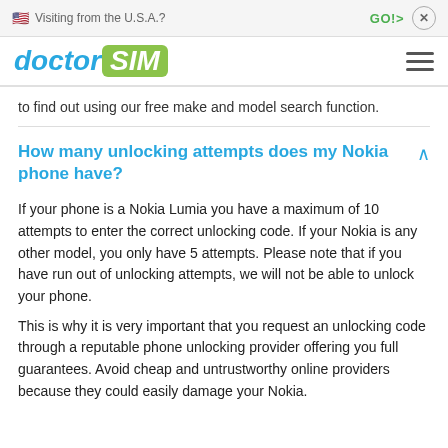🇺🇸 Visiting from the U.S.A.?   GO!>   x
[Figure (logo): doctorSIM logo with hamburger menu icon]
to find out using our free make and model search function.
How many unlocking attempts does my Nokia phone have?
If your phone is a Nokia Lumia you have a maximum of 10 attempts to enter the correct unlocking code. If your Nokia is any other model, you only have 5 attempts. Please note that if you have run out of unlocking attempts, we will not be able to unlock your phone.
This is why it is very important that you request an unlocking code through a reputable phone unlocking provider offering you full guarantees. Avoid cheap and untrustworthy online providers because they could easily damage your Nokia.